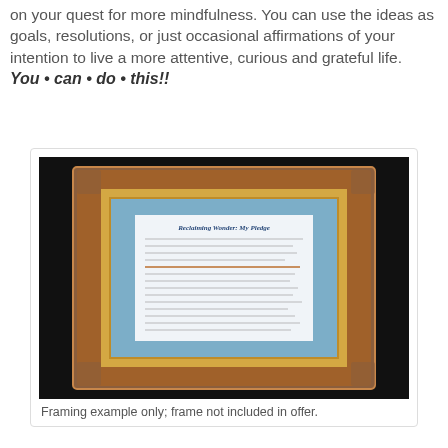Think of it as first steps and/or milepost to guide you on your quest for more mindfulness. You can use the ideas as goals, resolutions, or just occasional affirmations of your intention to live a more attentive, curious and grateful life. You • can • do • this!!
[Figure (photo): A framed document titled 'Reclaiming Wonder: My Pledge' with blue matting, displayed in a decorative wooden picture frame against a dark background.]
Framing example only; frame not included in offer.